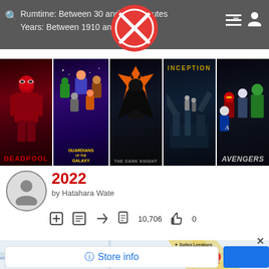Rumtime: Between 30 and 250 minutes
Years: Between 1910 and 2022
[Figure (logo): Red circle logo with crossed-out symbol overlaid on header]
[Figure (photo): Movie poster strip showing Deadpool, Guardians of the Galaxy, The Dark Knight, Inception, and Avengers]
2022
by Hatahara Wate
10,706   0
[Figure (map): Google Maps showing Leesburg Premium Outlets location with map pin]
Store info